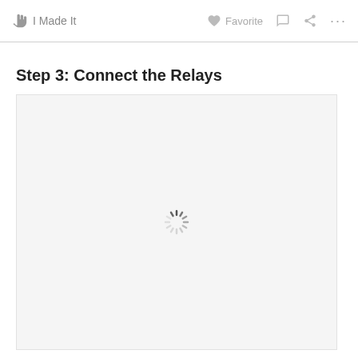I Made It   Favorite ... ...
Step 3: Connect the Relays
[Figure (other): Loading spinner placeholder image — content still loading, showing a circular spinner icon centered in a light gray rectangle]